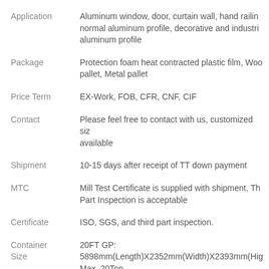Application: Aluminum window, door, curtain wall, hand railing, normal aluminum profile, decorative and industrial aluminum profile
Package: Protection foam heat contracted plastic film, Wood pallet, Metal pallet
Price Term: EX-Work, FOB, CFR, CNF, CIF
Contact: Please feel free to contact with us, customized size available
Shipment: 10-15 days after receipt of TT down payment
MTC: Mill Test Certificate is supplied with shipment, Third Part Inspection is acceptable
Certificate: ISO, SGS, and third part inspection.
Container Size: 20FT GP: 5898mm(Length)X2352mm(Width)X2393mm(High) Max. 20Ton